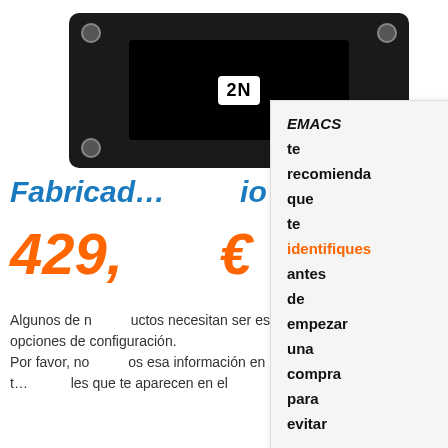[Figure (photo): Black electronic device (intercom/access control unit) with a screen showing '2N' logo, screws at corners, on white background]
Fabricado ... io Pedido
429, €
Algunos de n... uctos necesitan ser especificado... as opciones de configuración. Por favor, no ... os esa información en los campos de t... les que te aparecen en el
[Figure (infographic): Popup overlay with text: EMACS te recomienda que te identifiques antes de empezar una compra para evitar]